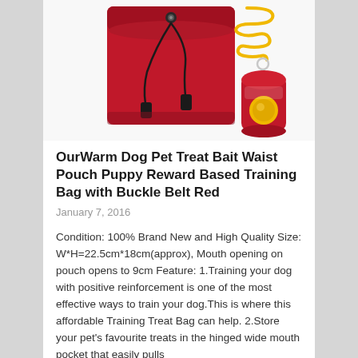[Figure (photo): Red dog treat training pouch bag with drawstring and clip, shown alongside a red clicker with yellow coil lanyard on white background]
OurWarm Dog Pet Treat Bait Waist Pouch Puppy Reward Based Training Bag with Buckle Belt Red
January 7, 2016
Condition: 100% Brand New and High Quality Size: W*H=22.5cm*18cm(approx), Mouth opening on pouch opens to 9cm Feature: 1.Training your dog with positive reinforcement is one of the most effective ways to train your dog.This is where this affordable Training Treat Bag can help. 2.Store your pet's favourite treats in the hinged wide mouth pocket that easily pulls